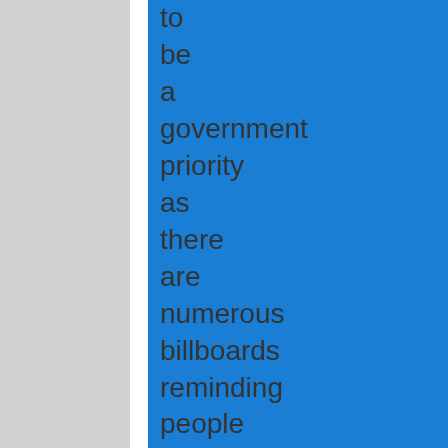to be a government priority as there are numerous billboards reminding people not to drive if tired and not to speed. Running-lights are not mandatory